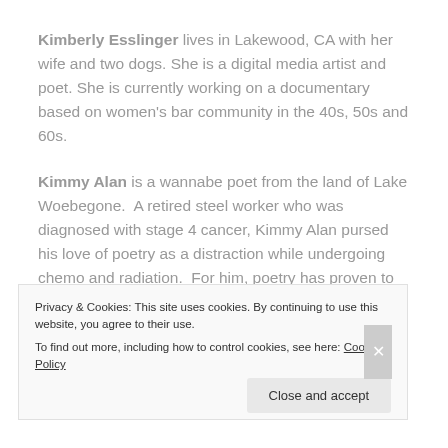Kimberly Esslinger lives in Lakewood, CA with her wife and two dogs. She is a digital media artist and poet. She is currently working on a documentary based on women's bar community in the 40s, 50s and 60s.
Kimmy Alan is a wannabe poet from the land of Lake Woebegone.  A retired steel worker who was diagnosed with stage 4 cancer, Kimmy Alan pursed his love of poetry as a distraction while undergoing chemo and radiation.  For him, poetry has proven to
Privacy & Cookies: This site uses cookies. By continuing to use this website, you agree to their use.
To find out more, including how to control cookies, see here: Cookie Policy
Close and accept